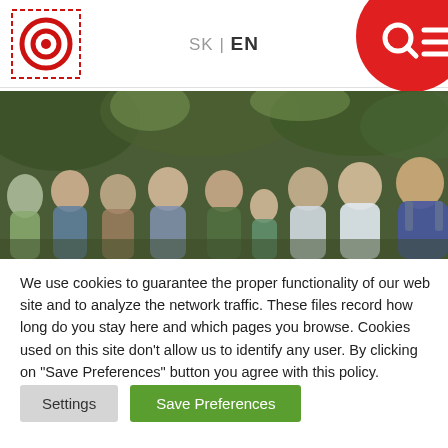SK | EN
[Figure (photo): Group photo of multiple people outdoors with green trees in background]
We use cookies to guarantee the proper functionality of our web site and to analyze the network traffic. These files record how long do you stay here and which pages you browse. Cookies used on this site don't allow us to identify any user. By clicking on "Save Preferences" button you agree with this policy.